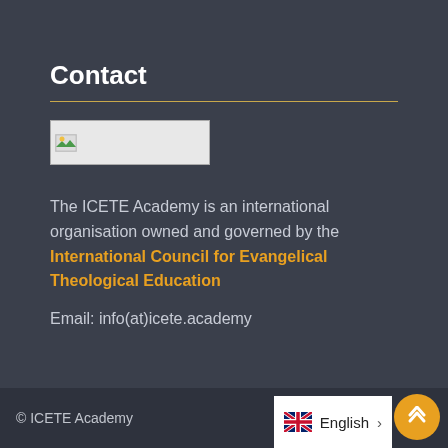Contact
[Figure (logo): ICETE Academy logo placeholder image with broken image icon]
The ICETE Academy is an international organisation owned and governed by the International Council for Evangelical Theological Education
Email: info(at)icete.academy
© ICETE Academy